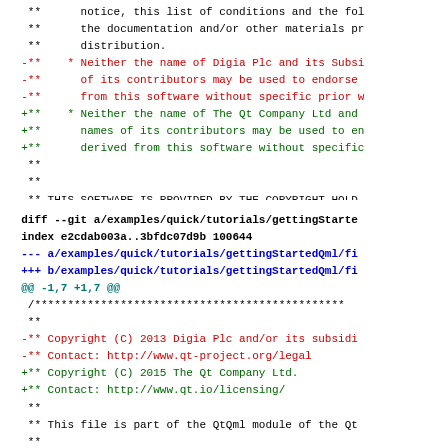Code diff showing license header changes from Digia Plc to The Qt Company Ltd in Qt source files
diff --git a/examples/quick/tutorials/gettingStarted... index e2cdab003a..3bfdc07d9b 100644